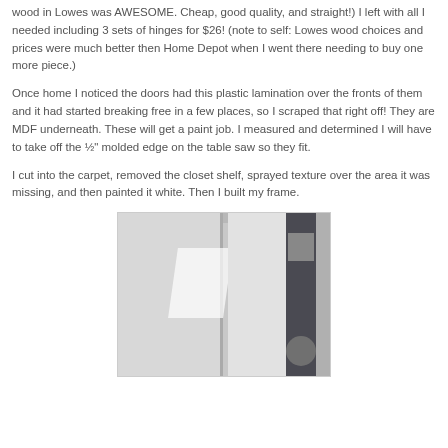wood in Lowes was AWESOME. Cheap, good quality, and straight!) I left with all I needed including 3 sets of hinges for $26! (note to self: Lowes wood choices and prices were much better then Home Depot when I went there needing to buy one more piece.)
Once home I noticed the doors had this plastic lamination over the fronts of them and it had started breaking free in a few places, so I scraped that right off! They are MDF underneath. These will get a paint job. I measured and determined I will have to take off the ½" molded edge on the table saw so they fit.
I cut into the carpet, removed the closet shelf, sprayed texture over the area it was missing, and then painted it white. Then I built my frame.
[Figure (photo): Photo of a white closet frame with bifold or panel doors installed, viewed from inside a room. A dark shelf unit is visible on the right side.]